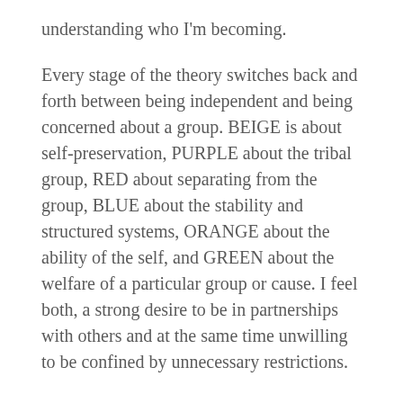understanding who I'm becoming.
Every stage of the theory switches back and forth between being independent and being concerned about a group. BEIGE is about self-preservation, PURPLE about the tribal group, RED about separating from the group, BLUE about the stability and structured systems, ORANGE about the ability of the self, and GREEN about the welfare of a particular group or cause. I feel both, a strong desire to be in partnerships with others and at the same time unwilling to be confined by unnecessary restrictions.
Embracing Matriarchy Through the Spiral